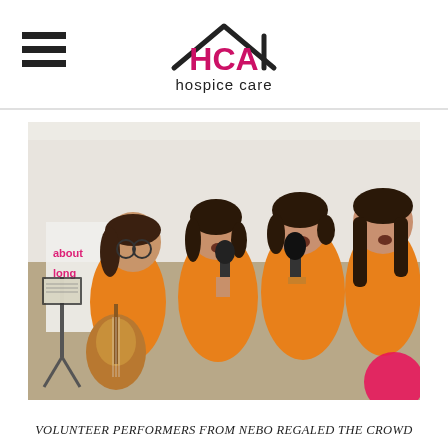HCA hospice care
[Figure (photo): Four young women in orange t-shirts performing on stage at an outdoor event. Three are singing into microphones and one is playing acoustic guitar while reading sheet music on a stand. A banner in the background partially reads 'about' and 'long'. A pink circular element is visible at the bottom right.]
VOLUNTEER PERFORMERS FROM NEBO REGALED THE CROWD